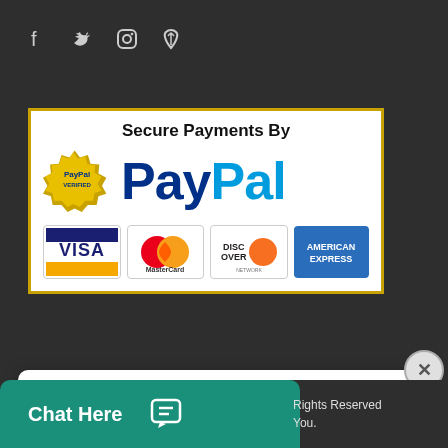[Figure (other): Social media icons: Facebook (f), Twitter (bird), Instagram (camera), Pinterest (P)]
[Figure (other): Secure Payments By PayPal banner with PayPal Verified seal and credit card logos: Visa, MasterCard, Discover Network, American Express]
Hello
We offer HIGH QUALITY PLAGIARISM FREE essays & termpapers.

Chat…
Chat Here
Rights Reserved
You.